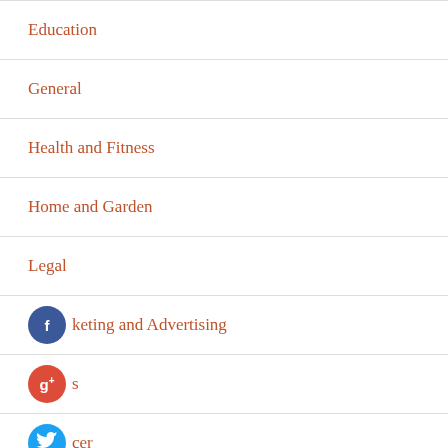Education
General
Health and Fitness
Home and Garden
Legal
Marketing and Advertising
News
Soccer
Sports
Technology and Gadgets